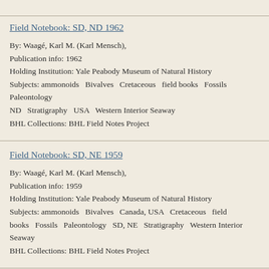Field Notebook: SD, ND 1962
By: Waagé, Karl M. (Karl Mensch),
Publication info: 1962
Holding Institution: Yale Peabody Museum of Natural History
Subjects: ammonoids  Bivalves  Cretaceous  field books  Fossils  Paleontology  ND  Stratigraphy  USA  Western Interior Seaway
BHL Collections: BHL Field Notes Project
Field Notebook: SD, NE 1959
By: Waagé, Karl M. (Karl Mensch),
Publication info: 1959
Holding Institution: Yale Peabody Museum of Natural History
Subjects: ammonoids  Bivalves  Canada, USA  Cretaceous  field books  Fossils  Paleontology  SD, NE  Stratigraphy  Western Interior Seaway
BHL Collections: BHL Field Notes Project
Field Notebook: SD, WY 1956